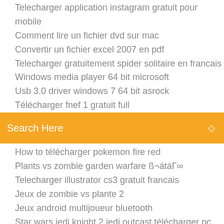Telecharger application instagram gratuit pour mobile
Comment lire un fichier dvd sur mac
Convertir un fichier excel 2007 en pdf
Telecharger gratuitement spider solitaire en francais
Windows media player 64 bit microsoft
Usb 3.0 driver windows 7 64 bit asrock
Télécharger fnef 1 gratuit full
[Figure (screenshot): Orange search bar with 'Search Here' placeholder text and search icon]
How to télécharger pokemon fire red
Plants vs zombie garden warfare ß¬átáΓ∞
Telecharger illustrator cs3 gratuit francais
Jeux de zombie vs plante 2
Jeux android multijoueur bluetooth
Star wars jedi knight 2 jedi outcast télécharger pc
Correcteur dorthographe et de grammaire français
Google map 2020 street view philippines
Lipton akıllı çay bardağı oyununu oyna
Winzip gratuit pour mac en français